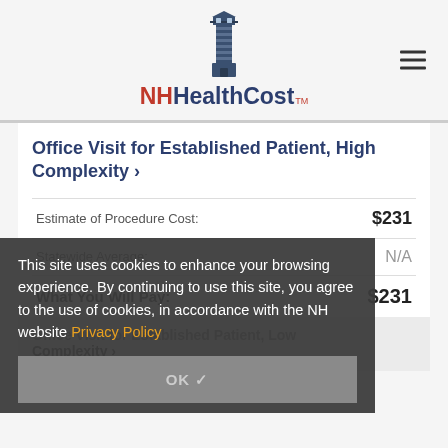NH HealthCost
Office Visit for Established Patient, High Complexity ›
| Label | Value |
| --- | --- |
| Estimate of Procedure Cost: | $231 |
| Statewide Average: | N/A |
| What You Will Pay: | $231 |
This site uses cookies to enhance your browsing experience. By continuing to use this site, you agree to the use of cookies, in accordance with the NH website Privacy Policy
OK ✓
Office Visit for Established Patient, Low Complexity ›